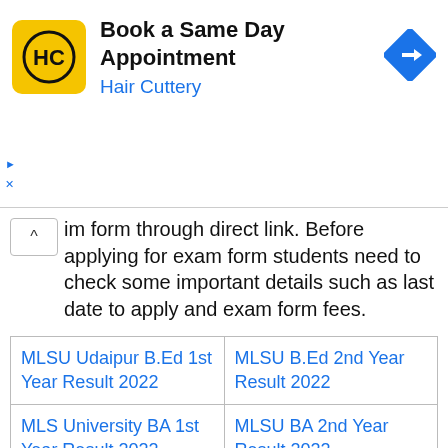[Figure (other): Hair Cuttery advertisement banner: yellow logo with HC initials, text 'Book a Same Day Appointment' and 'Hair Cuttery', blue navigation diamond icon on right]
im form through direct link. Before applying for exam form students need to check some important details such as last date to apply and exam form fees.
| MLSU Udaipur B.Ed 1st Year Result 2022 | MLSU B.Ed 2nd Year Result 2022 |
| MLS University BA 1st Year Result 2022 | MLSU BA 2nd Year Result 2022 |
How to apply Online MGS University B.Ed Online Exam Form 2022